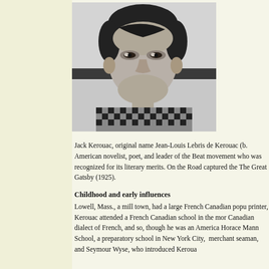[Figure (photo): Black and white photograph of Jack Kerouac, a young man with dark hair wearing a checkered shirt, looking directly at the camera]
Jack Kerouac, original name Jean-Louis Lebris de Kerouac (b. American novelist, poet, and leader of the Beat movement who was recognized for its literary merits. On the Road captured the The Great Gatsby (1925).
Childhood and early influences
Lowell, Mass., a mill town, had a large French Canadian popu printer, Kerouac attended a French Canadian school in the mor Canadian dialect of French, and so, though he was an America Horace Mann School, a preparatory school in New York City, merchant seaman, and Seymour Wyse, who introduced Keroua